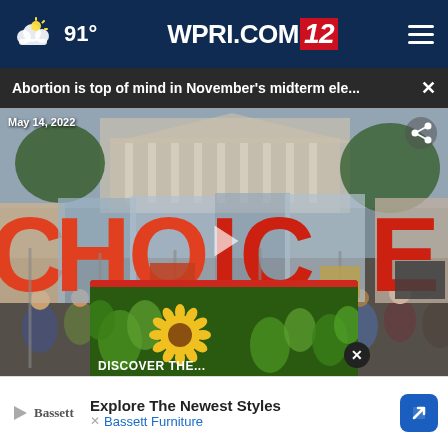91° WPRI.COM/2
Abortion is top of mind in November's midterm ele... ×
[Figure (photo): Protest outside the US Supreme Court with demonstrators holding large orange and red letters spelling CHOICE, dated May 14, 2022. Play button overlay visible.]
May 14, 2022
DISCOVER the...
Explore The Newest Styles
Bassett Furniture